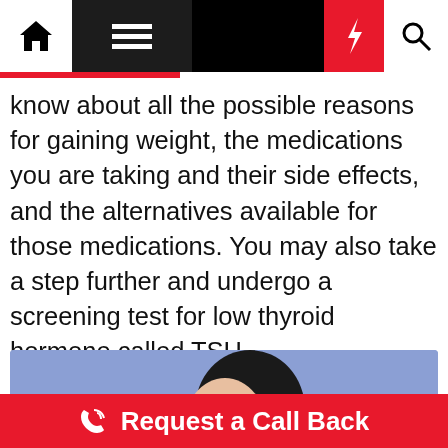Navigation bar with home, menu, moon, bolt, search icons
know about all the possible reasons for gaining weight, the medications you are taking and their side effects, and the alternatives available for those medications. You may also take a step further and undergo a screening test for low thyroid hormone called TSH.
[Figure (photo): Woman in profile view on blue/lavender background with white body-contouring arrows drawn over her silhouette, wearing white top]
Whatsapp Us for Offers!
Request a Call Back